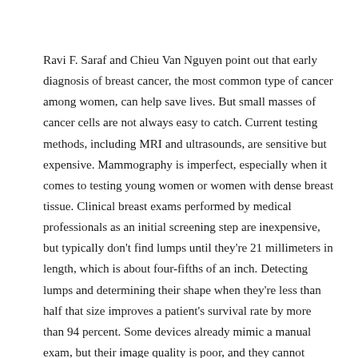Ravi F. Saraf and Chieu Van Nguyen point out that early diagnosis of breast cancer, the most common type of cancer among women, can help save lives. But small masses of cancer cells are not always easy to catch. Current testing methods, including MRI and ultrasounds, are sensitive but expensive. Mammography is imperfect, especially when it comes to testing young women or women with dense breast tissue. Clinical breast exams performed by medical professionals as an initial screening step are inexpensive, but typically don't find lumps until they're 21 millimeters in length, which is about four-fifths of an inch. Detecting lumps and determining their shape when they're less than half that size improves a patient's survival rate by more than 94 percent. Some devices already mimic a manual exam, but their image quality is poor, and they cannot determine a lump's shape, which